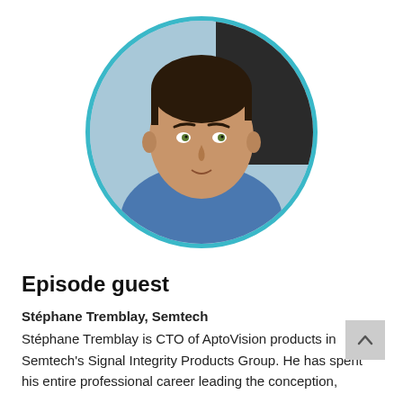[Figure (photo): Circular portrait photo of Stéphane Tremblay, a man in a blue shirt, with a teal/cyan circular border, light blue background]
Episode guest
Stéphane Tremblay, Semtech
Stéphane Tremblay is CTO of AptoVision products in Semtech's Signal Integrity Products Group. He has spent his entire professional career leading the conception,